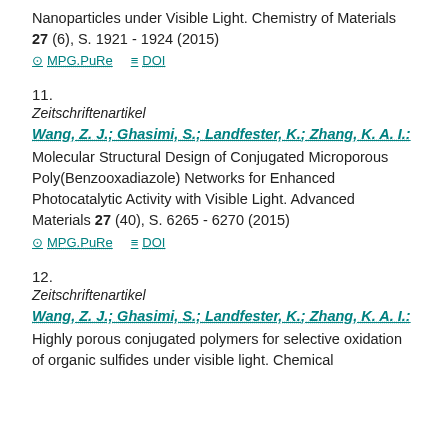Nanoparticles under Visible Light. Chemistry of Materials 27 (6), S. 1921 - 1924 (2015)
⊙ MPG.PuRe  ≡ DOI
11.
Zeitschriftenartikel
Wang, Z. J.; Ghasimi, S.; Landfester, K.; Zhang, K. A. I.:
Molecular Structural Design of Conjugated Microporous Poly(Benzooxadiazole) Networks for Enhanced Photocatalytic Activity with Visible Light. Advanced Materials 27 (40), S. 6265 - 6270 (2015)
⊙ MPG.PuRe  ≡ DOI
12.
Zeitschriftenartikel
Wang, Z. J.; Ghasimi, S.; Landfester, K.; Zhang, K. A. I.:
Highly porous conjugated polymers for selective oxidation of organic sulfides under visible light. Chemical...